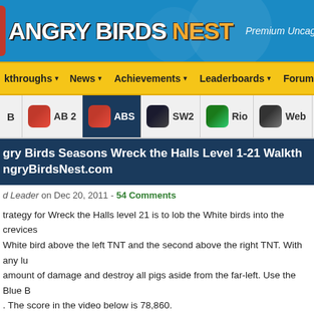ANGRY BIRDS NEST — Premium Uncaged Memberships Now A
kthroughs | News | Achievements | Leaderboards | Forums | Comm
B | AB 2 | ABS | SW2 | Rio | Web | GE'
gry Birds Seasons Wreck the Halls Level 1-21 Walkth ngryBirdsNest.com
d Leader on Dec 20, 2011 - 54 Comments
trategy for Wreck the Halls level 21 is to lob the White birds into the crevices White bird above the left TNT and the second above the right TNT. With any lu amount of damage and destroy all pigs aside from the far-left. Use the Blue B . The score in the video below is 78,860.
[Figure (screenshot): Dark video thumbnail at the bottom of the page]